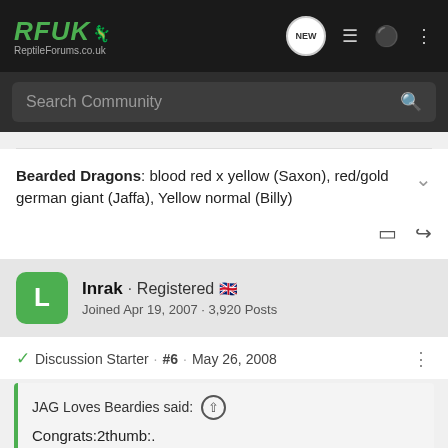RFUK Reptile Forums.co.uk
Search Community
Bearded Dragons: blood red x yellow (Saxon), red/gold german giant (Jaffa), Yellow normal (Billy)
Inrak · Registered 🇬🇧
Joined Apr 19, 2007 · 3,920 Posts
Discussion Starter · #6 · May 26, 2008
JAG Loves Beardies said:
Congrats:2thumb:.